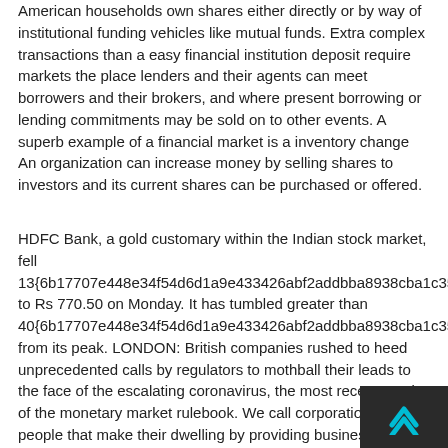American households own shares either directly or by way of institutional funding vehicles like mutual funds. Extra complex transactions than a easy financial institution deposit require markets the place lenders and their agents can meet borrowers and their brokers, and where present borrowing or lending commitments may be sold on to other events. A superb example of a financial market is a inventory change An organization can increase money by selling shares to investors and its current shares can be purchased or offered.
HDFC Bank, a gold customary within the Indian stock market, fell 13{6b17707e448e34f54d6d1a9e433426abf2addbba8938cba1c35a0 to Rs 770.50 on Monday. It has tumbled greater than 40{6b17707e448e34f54d6d1a9e433426abf2addbba8938cba1c35a0 from its peak. LONDON: British companies rushed to heed unprecedented calls by regulators to mothball their leads to the face of the escalating coronavirus, the most recent rewrite of the monetary market rulebook. We call corporations or people that make their dwelling by providing business financeÂ enterprise capitalists. A fee reduce "would provide slightly bit of assist spending and to the US financial system and to monetary m Yellen said this week.